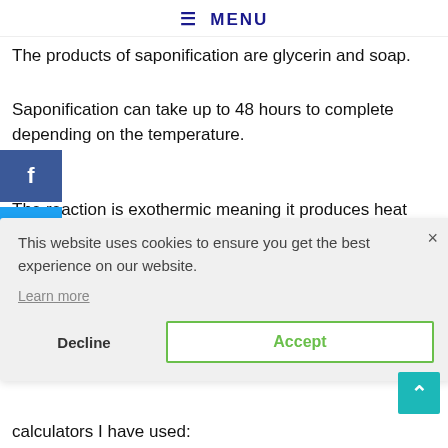≡ MENU
The products of saponification are glycerin and soap.
Saponification can take up to 48 hours to complete depending on the temperature.
The reaction is exothermic meaning it produces heat
the
el
[Figure (screenshot): Cookie consent modal overlay with text 'This website uses cookies to ensure you get the best experience on our website.', a Learn more link, Decline button, and Accept button with green border]
will
calculators I have used: